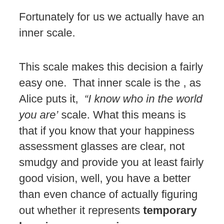Fortunately for us we actually have an inner scale.
This scale makes this decision a fairly easy one.  That inner scale is the , as Alice puts it,  “I know who in the world you are’ scale. What this means is that if you know that your happiness assessment glasses are clear, not smudgy and provide you at least fairly good vision, well, you have a better than even chance of actually figuring out whether it represents temporary happiness or ongoing